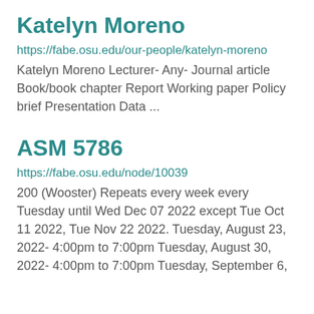Katelyn Moreno
https://fabe.osu.edu/our-people/katelyn-moreno
Katelyn Moreno Lecturer- Any- Journal article Book/book chapter Report Working paper Policy brief Presentation Data ...
ASM 5786
https://fabe.osu.edu/node/10039
200 (Wooster) Repeats every week every Tuesday until Wed Dec 07 2022 except Tue Oct 11 2022, Tue Nov 22 2022. Tuesday, August 23, 2022- 4:00pm to 7:00pm Tuesday, August 30, 2022- 4:00pm to 7:00pm Tuesday, September 6,